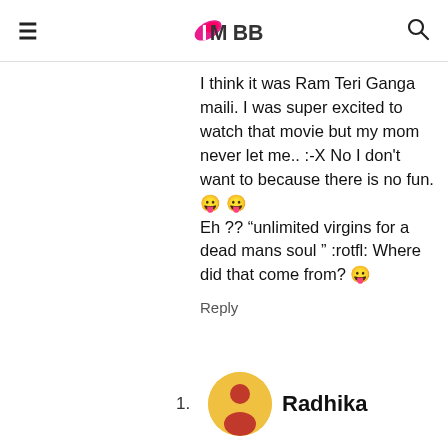IMBB
I think it was Ram Teri Ganga maili. I was super excited to watch that movie but my mom never let me.. :-X No I don't want to because there is no fun. 😛 😛
Eh ?? “unlimited virgins for a dead mans soul ” :rotfl: Where did that come from? 😛
Reply
1. Radhika